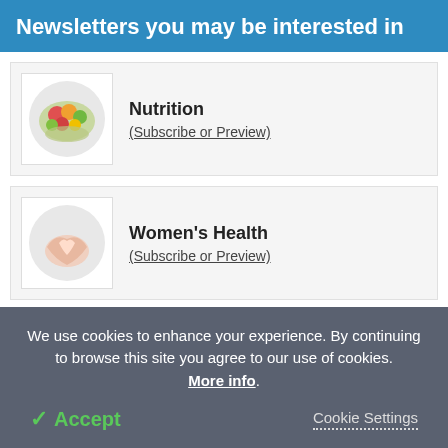Newsletters you may be interested in
Nutrition
(Subscribe or Preview)
Women's Health
(Subscribe or Preview)
Pharmacy / Pharmacology
(Subscribe or Preview)
We use cookies to enhance your experience. By continuing to browse this site you agree to our use of cookies. More info.
✓ Accept
Cookie Settings